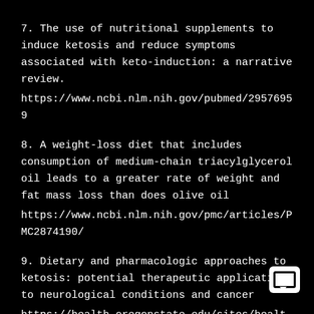7. The use of nutritional supplements to induce ketosis and reduce symptoms associated with keto-induction: a narrative review.
https://www.ncbi.nlm.nih.gov/pubmed/29576959
8. A weight-loss diet that includes consumption of medium-chain triacylglycerol oil leads to a greater rate of weight and fat mass loss than does olive oil
https://www.ncbi.nlm.nih.gov/pmc/articles/PMC2874190/
9. Dietary and pharmacologic approaches to ketosis: potential therapeutic applications to neurological conditions and cancer
https://health.oregonstate.edu/sites/health.oregonstate.edu/files/moore-center/food-nutrition-health-update/10-Norm-HoMFC-Update-2016.pdf